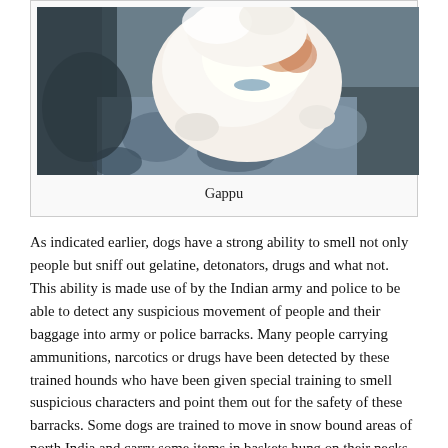[Figure (photo): A white fluffy cat or dog lying on a patterned surface, viewed from above. The animal appears light-colored (white/cream) with some orange/brown patches.]
Gappu
As indicated earlier, dogs have a strong ability to smell not only people but sniff out gelatine, detonators, drugs and what not. This ability is made use of by the Indian army and police to be able to detect any suspicious movement of people and their baggage into army or police barracks. Many people carrying ammunitions, narcotics or drugs have been detected by these trained hounds who have been given special training to smell suspicious characters and point them out for the safety of these barracks. Some dogs are trained to move in snow bound areas of north India and carry some items in baskets hung on their necks for army men stationed at some heights that are daunting for soldiers stationed there.